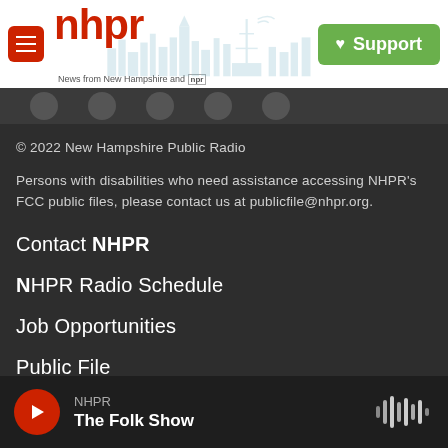[Figure (logo): NHPR logo with hamburger menu icon, red NHPR text, tagline 'News from New Hampshire and NPR', skyline illustration, and green Support button]
© 2022 New Hampshire Public Radio
Persons with disabilities who need assistance accessing NHPR's FCC public files, please contact us at publicfile@nhpr.org.
Contact NHPR
NHPR Radio Schedule
Job Opportunities
Public File
Terms Of Use
NHPR — The Folk Show (player bar)